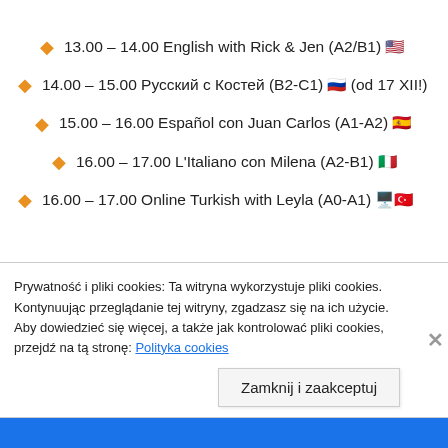13.00 – 14.00 English with Rick & Jen (A2/B1) 🇺🇸
14.00 – 15.00 Русский с Костей (B2-C1) 🇷🇺 (od 17 XII!)
15.00 – 16.00 Español con Juan Carlos (A1-A2) 🇪🇸
16.00 – 17.00 L'Italiano con Milena (A2-B1) 🇮🇹
16.00 – 17.00 Online Turkish with Leyla (A0-A1) 🖥️🇹🇷
Prywatność i pliki cookies: Ta witryna wykorzystuje pliki cookies. Kontynuując przeglądanie tej witryny, zgadzasz się na ich użycie. Aby dowiedzieć się więcej, a także jak kontrolować pliki cookies, przejdź na tą stronę: Polityka cookies
Zamknij i zaakceptuj